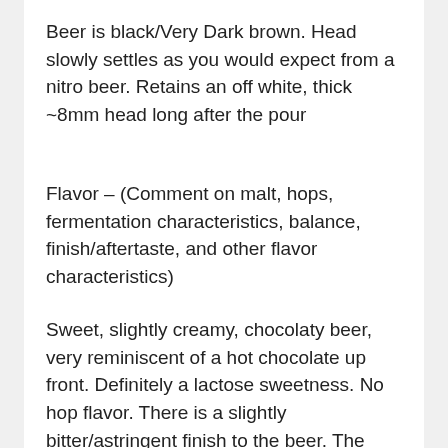Beer is black/Very Dark brown. Head slowly settles as you would expect from a nitro beer. Retains an off white, thick ~8mm head long after the pour
Flavor – (Comment on malt, hops, fermentation characteristics, balance, finish/aftertaste, and other flavor characteristics)
Sweet, slightly creamy, chocolaty beer, very reminiscent of a hot chocolate up front. Definitely a lactose sweetness. No hop flavor. There is a slightly bitter/astringent finish to the beer. The bitterness is from dark malts